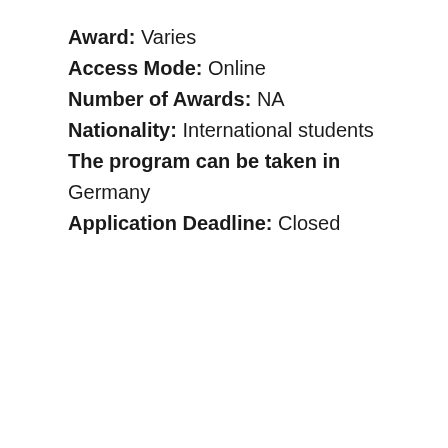Award: Varies
Access Mode: Online
Number of Awards: NA
Nationality: International students
The program can be taken in Germany
Application Deadline: Closed